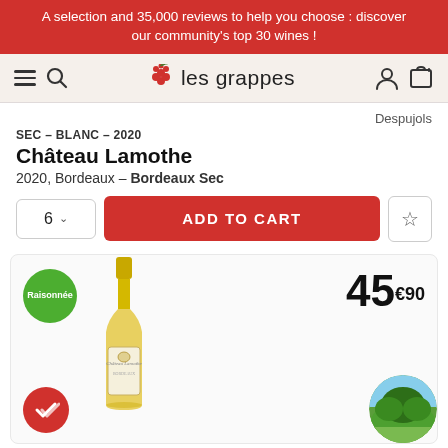A selection and 35,000 reviews to help you choose : discover our community's top 30 wines !
[Figure (logo): Les Grappes website navigation bar with hamburger menu, search icon, grape cluster logo with 'les grappes' text, user icon and cart icon]
Despujols
SEC - BLANC - 2020
Château Lamothe
2020, Bordeaux – Bordeaux Sec
6  ADD TO CART ☆
[Figure (photo): Wine product card showing: Raisonnée green badge, a bottle of Château Lamothe white wine (2020 Bordeaux), price 45€90, red verified checkmark badge, and partial landscape circle photo in bottom right corner]